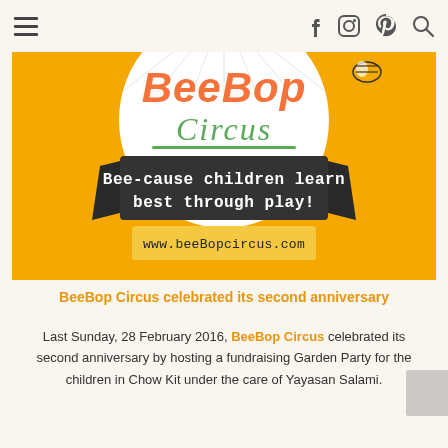BeeBop Circus website header with hamburger menu and social icons (Facebook, Instagram, Pinterest, Search)
[Figure (illustration): BeeBop Circus promotional banner image on yellow/orange background. Shows the BeeBop Circus logo (white circle with orange 'BeeBop' and green 'Circus' text), a dark ribbon banner reading 'Bee-cause children learn best through play!' and text 'www.beeBopcircus.com']
BeeBop Circus celebrated its second anniversary
Last Sunday, 28 February 2016, BeeBop Circus celebrated its second anniversary by hosting a fundraising Garden Party for the children in Chow Kit under the care of Yayasan Salami.